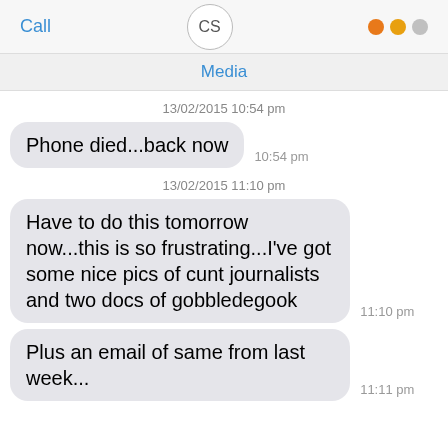[Figure (screenshot): Top bar of a messaging app showing 'Call' button, 'CS' avatar circle, and three dots (two orange, one gray)]
Media
13/02/2015 10:54 pm
Phone died...back now  10:54 pm
13/02/2015 11:10 pm
Have to do this tomorrow now...this is so frustrating...I've got some nice pics of cunt journalists and two docs of gobbledegook  11:10 pm
Plus an email of same from last week...  11:11 pm